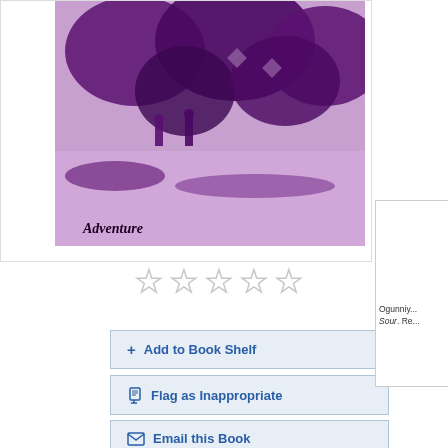[Figure (photo): Book cover with purple/violet toned image showing outdoor scene with trees and figures. Text 'Adventure' appears at bottom left of the cover image.]
[Figure (other): Five empty star rating icons in a row]
+ Add to Book Shelf
Flag as Inappropriate
Email this Book
Ogunniy... Sour. Re...